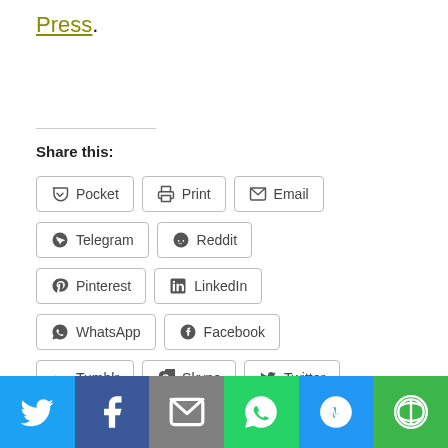Press.
Share this:
Pocket  Print  Email  Telegram  Reddit  Pinterest  LinkedIn  WhatsApp  Facebook  Tumblr  Skype  Twitter
[Figure (infographic): Bottom social share bar with Twitter, Facebook, Email, WhatsApp, SMS, and More icons on colored backgrounds]